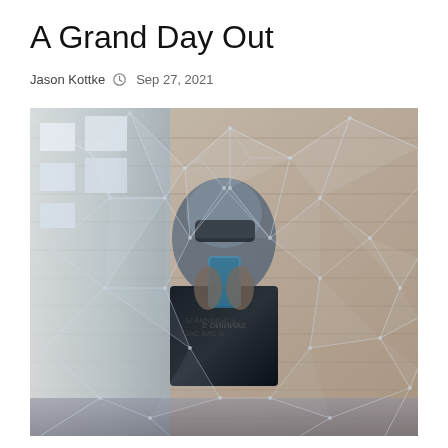A Grand Day Out
Jason Kottke   🕐  Sep 27, 2021
[Figure (photo): A person taking a selfie reflected through a fragmented geometric mirror installation, creating a kaleidoscopic distorted effect. The background shows a brick wall with natural light coming through windows. The person is wearing a dark printed t-shirt and holding a phone with a blue case.]